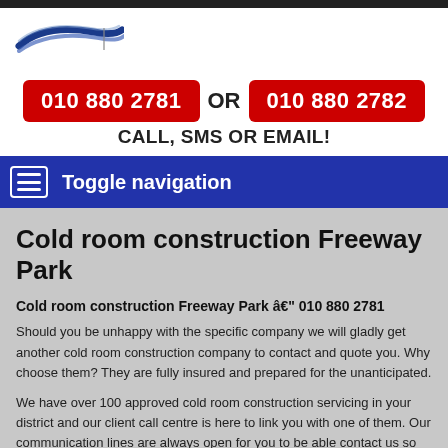[Figure (logo): Company logo with stylized blue swoosh/wave graphic]
010 880 2781 OR 010 880 2782
CALL, SMS OR EMAIL!
Toggle navigation
Cold room construction Freeway Park
Cold room construction Freeway Park â€" 010 880 2781
Should you be unhappy with the specific company we will gladly get another cold room construction company to contact and quote you. Why choose them? They are fully insured and prepared for the unanticipated.
We have over 100 approved cold room construction servicing in your district and our client call centre is here to link you with one of them. Our communication lines are always open for you to be able contact us so